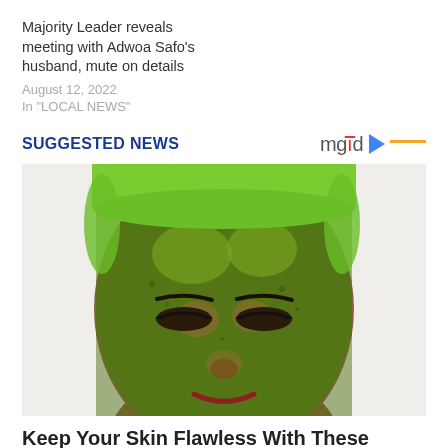Majority Leader reveals meeting with Adwoa Safo's husband, mute on details
August 12, 2022
In "LOCAL NEWS"
SUGGESTED NEWS
[Figure (photo): Close-up photo of a woman with a green herbal face mask and green towel headband, eyes closed]
Keep Your Skin Flawless With These Indian Beauty Remedies